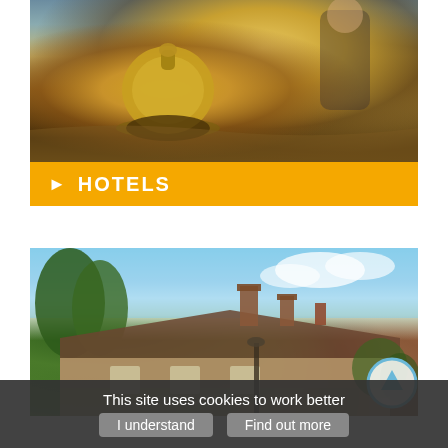[Figure (photo): Close-up photo of a brass hotel reception bell on a marble counter, with a hotel staff member in a vest visible in the background]
HOTELS
[Figure (photo): Photo of a traditional English village inn or hotel, showing a brick building with chimneys, surrounded by trees and greenery, under a partly cloudy sky]
This site uses cookies to work better
I understand   Find out more